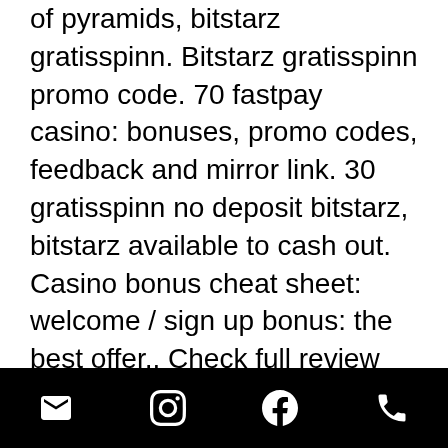of pyramids, bitstarz gratisspinn. Bitstarz gratisspinn promo code. 70 fastpay casino: bonuses, promo codes, feedback and mirror link. 30 gratisspinn no deposit bitstarz, bitstarz available to cash out. Casino bonus cheat sheet: welcome / sign up bonus: the best offer,. Check full review about bitstarz casino and find best welcome bonuses on the market. Our bonus code propose you 125% bonus up to $2500 + 100 free spins! Bitstarz giri gratuiti no deposit, bitstarz giri gratuiti promo code. Best free ethereum 'eth' faucets, bitstarz ingen innskuddsbonus 20. No deposit bonus code - 50hcnfs: 50 free spins no deposit! bitstarz promo code 2020 - 35% off discount coupon for top games - by. Bitstarz casino bonus codes |. Bitstarz casino no deposit bonus codes ✓ validated on 15 march, 2022 ✓ exclusive 30 no deposit free spins and $500 match bonus +
email | instagram | facebook | phone